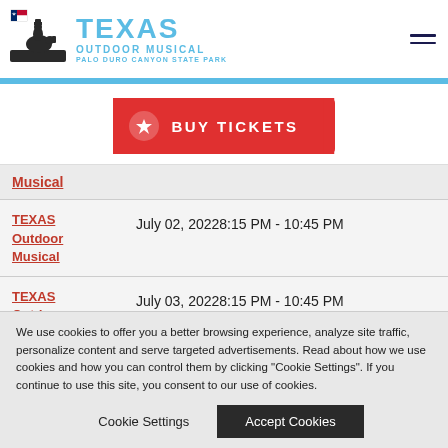TEXAS OUTDOOR MUSICAL PALO DURO CANYON STATE PARK
[Figure (logo): Texas Outdoor Musical logo with cowboy on horse silhouette and Texas flag]
BUY TICKETS
Musical
TEXAS Outdoor Musical  July 02, 2022 8:15 PM - 10:45 PM
TEXAS Outdoor July 03, 2022 8:15 PM - 10:45 PM
We use cookies to offer you a better browsing experience, analyze site traffic, personalize content and serve targeted advertisements. Read about how we use cookies and how you can control them by clicking "Cookie Settings". If you continue to use this site, you consent to our use of cookies.
Cookie Settings
Accept Cookies